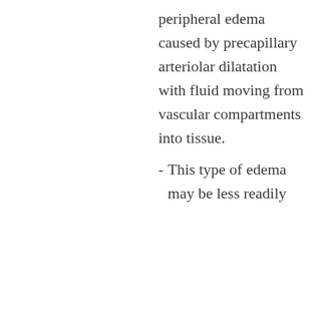peripheral edema caused by precapillary arteriolar dilatation with fluid moving from vascular compartments into tissue.
This type of edema may be less readily